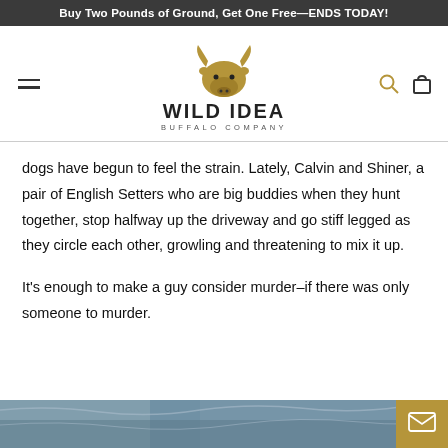Buy Two Pounds of Ground, Get One Free—ENDS TODAY!
[Figure (logo): Wild Idea Buffalo Company logo with bison head in gold/brown and bold black text reading WILD IDEA BUFFALO COMPANY]
dogs have begun to feel the strain. Lately, Calvin and Shiner, a pair of English Setters who are big buddies when they hunt together, stop halfway up the driveway and go stiff legged as they circle each other, growling and threatening to mix it up.
It's enough to make a guy consider murder–if there was only someone to murder.
[Figure (photo): Partial bottom image, appears to be an outdoor/nature scene with blue-grey tones]